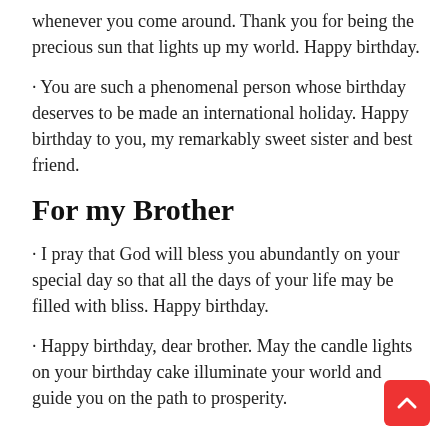whenever you come around. Thank you for being the precious sun that lights up my world. Happy birthday.
• You are such a phenomenal person whose birthday deserves to be made an international holiday. Happy birthday to you, my remarkably sweet sister and best friend.
For my Brother
• I pray that God will bless you abundantly on your special day so that all the days of your life may be filled with bliss. Happy birthday.
• Happy birthday, dear brother. May the candle lights on your birthday cake illuminate your world and guide you on the path to prosperity.